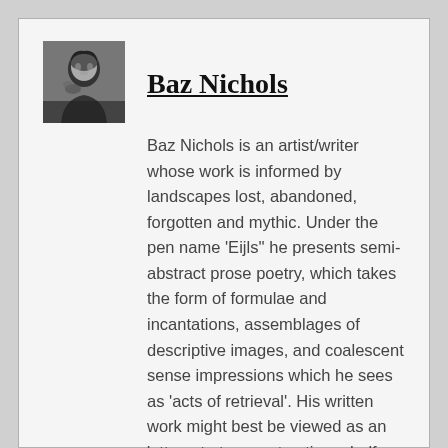[Figure (photo): Black and white portrait photo of Baz Nichols]
Baz Nichols
Baz Nichols is an artist/writer whose work is informed by landscapes lost, abandoned, forgotten and mythic. Under the pen name ‘Eijls’’ he presents semi-abstract prose poetry, which takes the form of formulae and incantations, assemblages of descriptive images, and coalescent sense impressions which he sees as ‘acts of retrieval’. His written work might best be viewed as an ‘attempt at reconstructing a half-imagined past’, re-inventing and re-mythologising lost places. This often culminates in beautifully crafted art